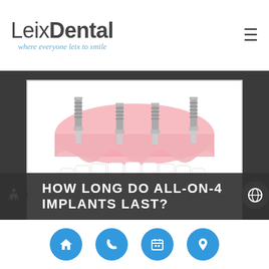Leix Dental — where everyone leix to smile
[Figure (illustration): 3D illustration of All-on-4 dental implant system showing pink gum arch with four titanium screw implants and a full arch of white ceramic teeth below]
HOW LONG DO ALL-ON-4 IMPLANTS LAST?
Navigation icons: home, phone, calendar, location